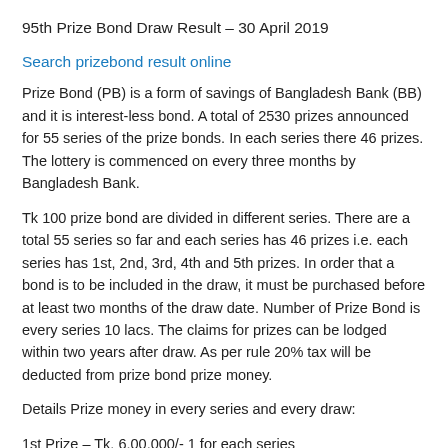95th Prize Bond Draw Result – 30 April 2019
Search prizebond result online
Prize Bond (PB) is a form of savings of Bangladesh Bank (BB) and it is interest-less bond. A total of 2530 prizes announced for 55 series of the prize bonds. In each series there 46 prizes. The lottery is commenced on every three months by Bangladesh Bank.
Tk 100 prize bond are divided in different series. There are a total 55 series so far and each series has 46 prizes i.e. each series has 1st, 2nd, 3rd, 4th and 5th prizes. In order that a bond is to be included in the draw, it must be purchased before at least two months of the draw date. Number of Prize Bond is every series 10 lacs. The claims for prizes can be lodged within two years after draw. As per rule 20% tax will be deducted from prize bond prize money.
Details Prize money in every series and every draw:
1st Prize – Tk. 6,00,000/- 1 for each series
2nd Prize – Tk. 3,25,000/- 1 for each series
3rd Prize – Tk. 1,00,000/- 2 for each series